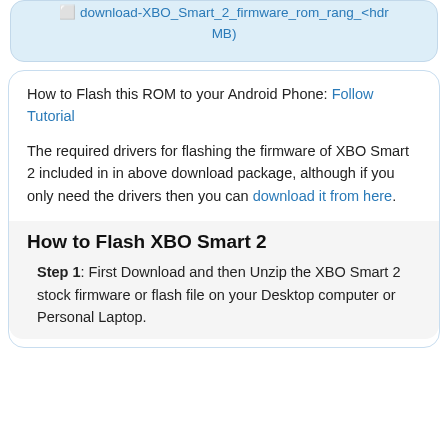[Figure (screenshot): Blue rounded box with a download link text partially visible at top]
How to Flash this ROM to your Android Phone: Follow Tutorial
The required drivers for flashing the firmware of XBO Smart 2 included in in above download package, although if you only need the drivers then you can download it from here.
How to Flash XBO Smart 2
Step 1: First Download and then Unzip the XBO Smart 2 stock firmware or flash file on your Desktop computer or Personal Laptop.